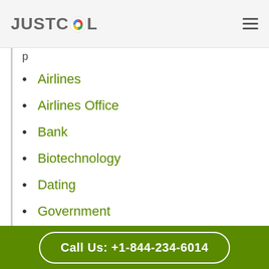JUSTCOL
Airlines
Airlines Office
Bank
Biotechnology
Dating
Government
Health Care
Insurance
Call Us: +1-844-234-6014